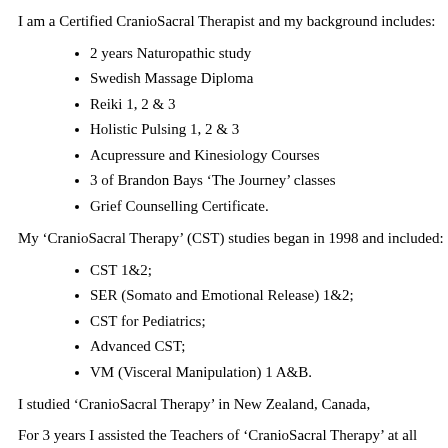I am a Certified CranioSacral Therapist and my background includes:
2 years Naturopathic study
Swedish Massage Diploma
Reiki 1, 2 & 3
Holistic Pulsing 1, 2 & 3
Acupressure and Kinesiology Courses
3 of Brandon Bays ‘The Journey’ classes
Grief Counselling Certificate.
My ‘CranioSacral Therapy’ (CST) studies began in 1998 and included:
CST 1&2;
SER (Somato and Emotional Release) 1&2;
CST for Pediatrics;
Advanced CST;
VM (Visceral Manipulation) 1 A&B.
I studied ‘CranioSacral Therapy’ in New Zealand, Canada,
For 3 years I assisted the Teachers of ‘CranioSacral Therapy’ at all levels of training. In 2002 I participated in a ‘CranioSacral’ the Upledger Institute in Florida, USA, where I worked alongside staff, including Dr. John Upledger, founder of CranioSacral